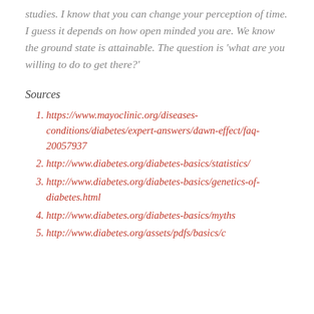studies. I know that you can change your perception of time. I guess it depends on how open minded you are. We know the ground state is attainable. The question is 'what are you willing to do to get there?'
Sources
https://www.mayoclinic.org/diseases-conditions/diabetes/expert-answers/dawn-effect/faq-20057937
http://www.diabetes.org/diabetes-basics/statistics/
http://www.diabetes.org/diabetes-basics/genetics-of-diabetes.html
http://www.diabetes.org/diabetes-basics/myths
http://www.diabetes.org/assets/pdfs/basics/c...